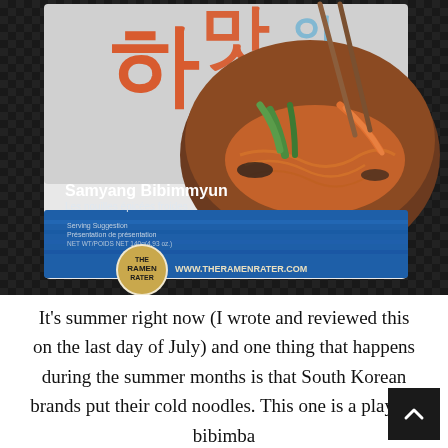[Figure (photo): A photo of a Samyang Bibimmyun noodle package against a dark woven background. The package shows Korean characters, 'Samyang Bibimmyun' and 'Les nouilles épicées froides' text, with a serving suggestion photo of a brown bowl of cold spicy noodles topped with vegetables including green onions and carrots, with chopsticks. A blue bottom section of the package is visible. A circular 'The Ramen Rater' logo and 'www.theramenrater.com' text appear at the bottom left.]
It's summer right now (I wrote and reviewed this on the last day of July) and one thing that happens during the summer months is that South Korean brands put their cold noodles. This one is a play on bibimba